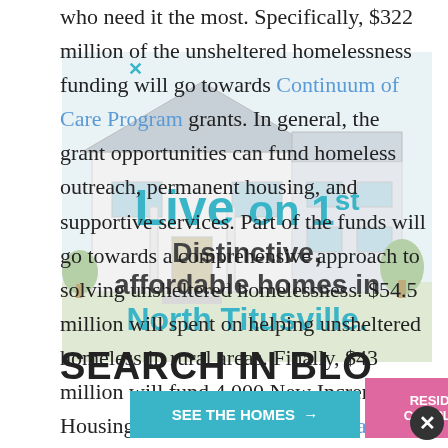who need it the most. Specifically, $322 million of the unsheltered homelessness funding will go towards Continuum of Care Program grants. In general, the grant opportunities can fund homeless outreach, permanent housing, and supportive services. Part of the funds will go towards a comprehensive approach to solving unsheltered homelessness. $54.5 million will spent on helping unsheltered homeless in rural areas. Finally, $43 million will fund 4,000 New Incremental Housing Choice Vouchers. Learn about Housing Choice vouchers.
[Figure (illustration): Overlay advertisement showing a modern house illustration with text: 'Live on 1st – Distinctive, affordable homes in North Titusville.' with a teal SEE THE HOMES button and a pink RESIDENT COMPLAINT button.]
SEARCH IN BLO...